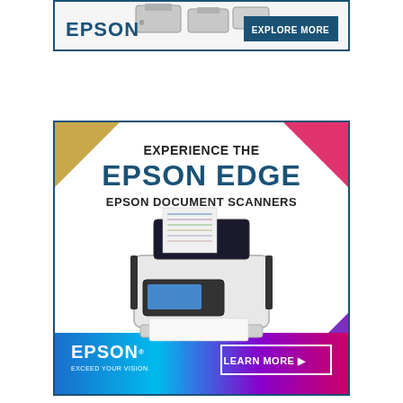[Figure (advertisement): Epson scanner advertisement banner with scanner hardware images, EPSON logo in blue, and 'EXPLORE MORE' button on dark blue background.]
[Figure (advertisement): Epson Edge advertisement. Text: 'EXPERIENCE THE EPSON EDGE EPSON DOCUMENT SCANNERS'. Shows a document scanner with papers feeding through it. Bottom bar has EPSON EXCEED YOUR VISION logo and 'LEARN MORE' button. Corner decorations in gold, pink, and purple.]